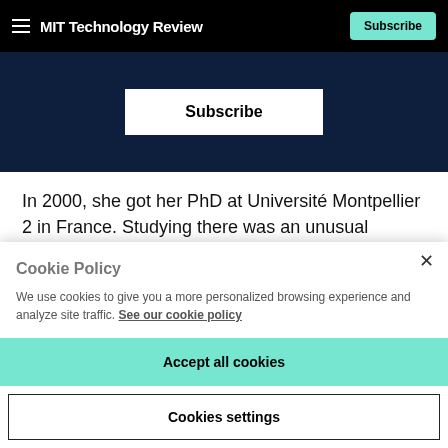MIT Technology Review — Subscribe
[Figure (screenshot): Dark navy blue banner with a white Subscribe button centered within it]
In 2000, she got her PhD at Université Montpellier 2 in France. Studying there was an unusual decision since she didn't speak French, and a difficult one because it meant leaving her young son behind in China; the stipend was
Cookie Policy
We use cookies to give you a more personalized browsing experience and analyze site traffic. See our cookie policy
Accept all cookies
Cookies settings